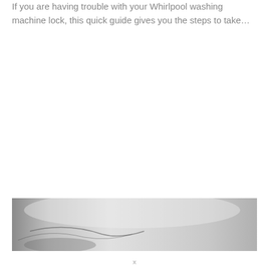If you are having trouble with your Whirlpool washing machine lock, this quick guide gives you the steps to take…
[Figure (photo): A close-up black and white photograph of what appears to be a washing machine or appliance surface, showing smooth curved surfaces in grayscale tones.]
x